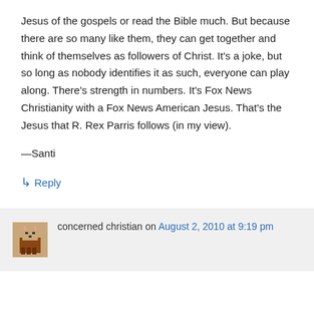Jesus of the gospels or read the Bible much. But because there are so many like them, they can get together and think of themselves as followers of Christ. It's a joke, but so long as nobody identifies it as such, everyone can play along. There's strength in numbers. It's Fox News Christianity with a Fox News American Jesus. That's the Jesus that R. Rex Parris follows (in my view).
—Santi
↳ Reply
concerned christian on August 2, 2010 at 9:19 pm